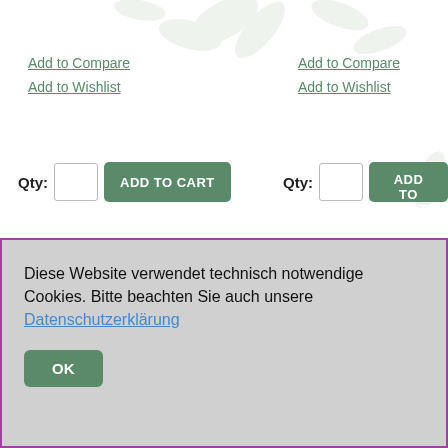Add to Compare
Add to Wishlist
Add to Compare
Add to Wishlist
Qty: [input] ADD TO CART
Qty: [input] ADD TO CART
[Figure (photo): White circular ring/sieve product image]
[Figure (photo): Pile of golden/orange granule food product]
Diese Website verwendet technisch notwendige Cookies. Bitte beachten Sie auch unsere Datenschutzerklärung
OK